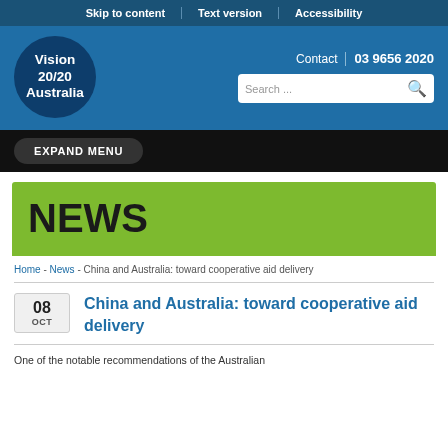Skip to content | Text version | Accessibility
[Figure (logo): Vision 20/20 Australia logo - dark blue circle with white bold text]
Contact | 03 9656 2020
Search ...
EXPAND MENU
NEWS
Home - News - China and Australia: toward cooperative aid delivery
China and Australia: toward cooperative aid delivery
08 OCT
One of the notable recommendations of the Australian...